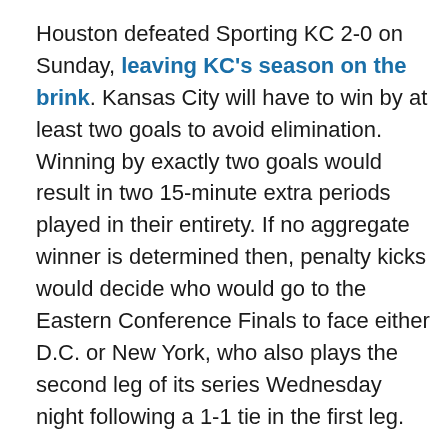Houston defeated Sporting KC 2-0 on Sunday, leaving KC's season on the brink. Kansas City will have to win by at least two goals to avoid elimination. Winning by exactly two goals would result in two 15-minute extra periods played in their entirety. If no aggregate winner is determined then, penalty kicks would decide who would go to the Eastern Conference Finals to face either D.C. or New York, who also plays the second leg of its series Wednesday night following a 1-1 tie in the first leg.

It would be a devastating end to a dominant Sporting KC season. The team's 63 regular-season points easily outpaced D.C. for best in the conference and trailed only the 66 points accrued by San Jose in the Western Conference. Houston, meanwhile, barely got into the playoffs and had to defeat Chicago in a one game...